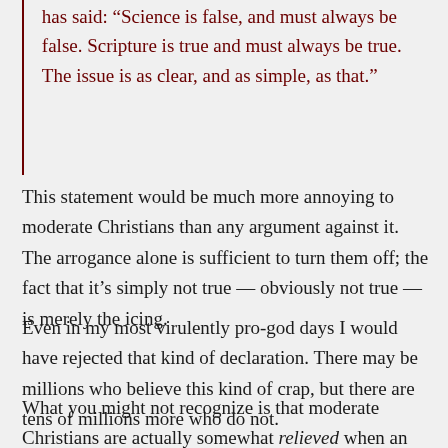has said: “Science is false, and must always be false. Scripture is true and must always be true. The issue is as clear, and as simple, as that.”
This statement would be much more annoying to moderate Christians than any argument against it. The arrogance alone is sufficient to turn them off; the fact that it’s simply not true — obviously not true — is merely the icing.
Even in my most virulently pro-god days I would have rejected that kind of declaration. There may be millions who believe this kind of crap, but there are tens of millions more who do not.
What you might not recognize is that moderate Christians are actually somewhat relieved when an atheist jumps up and argues against statements like the